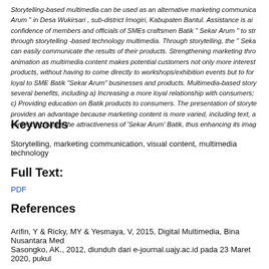Storytelling-based multimedia can be used as an alternative marketing communica... Arum " in Desa Wukirsari , sub-district Imogiri, Kabupaten Bantul. Assistance is ai... confidence of members and officials of SMEs craftsmen Batik " Sekar Arum " to str... through storytelling -based technology multimedia. Through storytelling, the " Seka... can easily communicate the results of their products. Strengthening marketing thro... animation as multimedia content makes potential customers not only more interest... products, without having to come directly to workshops/exhibition events but to for... loyal to SME Batik "Sekar Arum" businesses and products. Multimedia-based story... several benefits, including a) Increasing a more loyal relationship with consumers; ... c) Providing education on Batik products to consumers. The presentation of storyte... provides an advantage because marketing content is more varied, including text, a... content increases the attractiveness of 'Sekar Arum' Batik, thus enhancing its imag...
Keywords
Storytelling, marketing communication, visual content, multimedia technology
Full Text:
PDF
References
Arifin, Y & Ricky, MY & Yesmaya, V, 2015, Digital Multimedia, Bina Nusantara Med...
Sasongko, AK., 2012, diunduh dari e-journal.uajy.ac.id pada 23 Maret 2020, pukul...